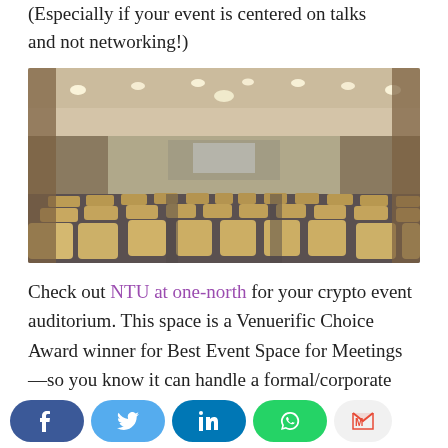(Especially if your event is centered on talks and not networking!)
[Figure (photo): Interior of a large auditorium with rows of beige/tan foldable seats arranged in a tiered lecture-hall style, viewed from the back looking toward a stage/screen area. The ceiling has recessed lighting and the walls are paneled in dark wood.]
Check out NTU at one-north for your crypto event auditorium. This space is a Venuerific Choice Award winner for Best Event Space for Meetings—so you know it can handle a formal/corporate event!
[Figure (other): Social media share buttons bar: Facebook (dark blue), Twitter (light blue), LinkedIn (dark teal), WhatsApp (green), Gmail (light grey with red M icon)]